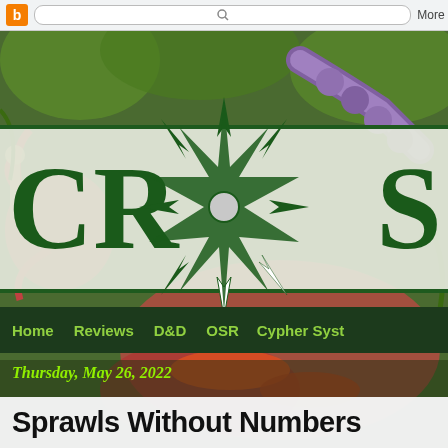[Figure (screenshot): Browser toolbar with Blogger orange B icon, search bar with magnifying glass, and More button]
[Figure (illustration): Fantasy RPG illustration background with colorful creatures, centipedes, mushrooms and adventurers in greens and reds]
[Figure (logo): CRXS logo - large dark green letters CR and S flanking a green 8-pointed compass/crosshair star on a light grey-white band]
Home   Reviews   D&D   OSR   Cypher Syst
Thursday, May 26, 2022
Sprawls Without Numbers